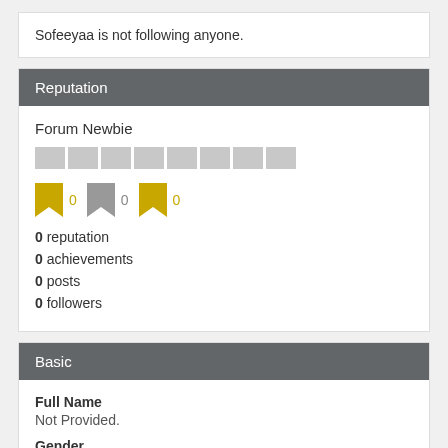Sofeeyaa is not following anyone.
Reputation
Forum Newbie
[Figure (infographic): Row of 8 grey square badge placeholders representing reputation bar]
[Figure (infographic): Three bookmark badge icons: gold bookmark with 0, grey bookmark with 0, gold bookmark with 0]
0 reputation
0 achievements
0 posts
0 followers
Basic
Full Name
Not Provided.
Gender